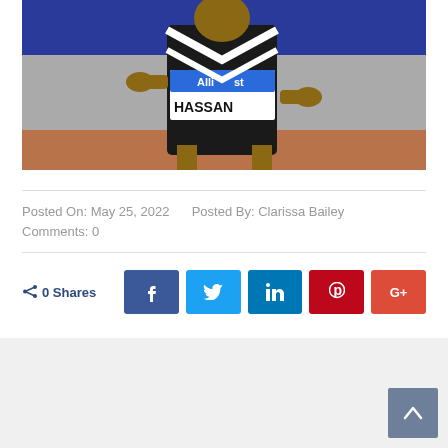[Figure (photo): Runner wearing a HASSAN race bib and Allianz-branded vest competing on a track. Close-up action shot showing the athlete mid-race.]
Posted On: May 25, 2022   Posted By: Clarissa Bailey
Comments: 0
0 Shares  [Facebook] [Twitter] [LinkedIn] [Pinterest] [Google+]